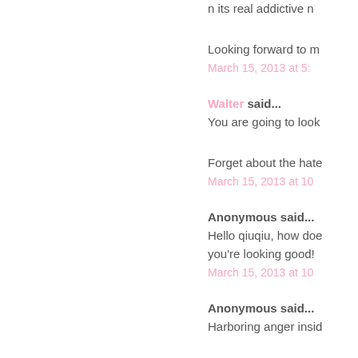n its real addictive n…
Looking forward to m…
March 15, 2013 at 5:…
Walter said…
You are going to look…
Forget about the hate…
March 15, 2013 at 10…
Anonymous said…
Hello qiuqiu, how doe… you're looking good!
March 15, 2013 at 10…
Anonymous said…
Harboring anger insid…
You should look into… boxing class?? ;)